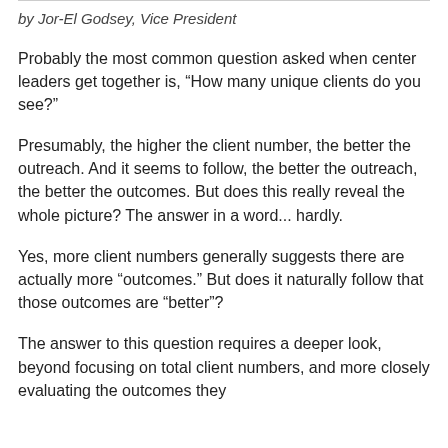by Jor-El Godsey, Vice President
Probably the most common question asked when center leaders get together is, “How many unique clients do you see?”
Presumably, the higher the client number, the better the outreach. And it seems to follow, the better the outreach, the better the outcomes. But does this really reveal the whole picture? The answer in a word... hardly.
Yes, more client numbers generally suggests there are actually more “outcomes.” But does it naturally follow that those outcomes are “better”?
The answer to this question requires a deeper look, beyond focusing on total client numbers, and more closely evaluating the outcomes they